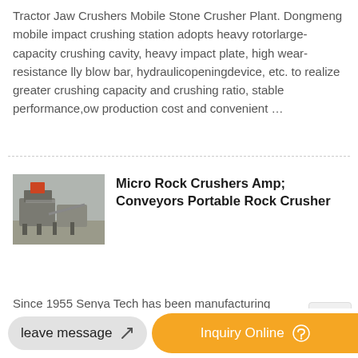Tractor Jaw Crushers Mobile Stone Crusher Plant. Dongmeng mobile impact crushing station adopts heavy rotorlarge-capacity crushing cavity, heavy impact plate, high wear-resistance lly blow bar, hydraulicopeningdevice, etc. to realize greater crushing capacity and crushing ratio, stable performance,ow production cost and convenient …
[Figure (photo): Photo of a rock crusher / industrial crushing plant equipment]
Micro Rock Crushers Amp; Conveyors Portable Rock Crusher
Since 1955 Senya Tech has been manufacturing crushing plants and equipment. Our product line includes MICRO Crushers, Jaw, Impact & Cone Crushers, Portable Crushing Plants, Crawl Mobile Crushers, MICRO Conveyors, Radial Yard Con…
leave message
Inquiry Online